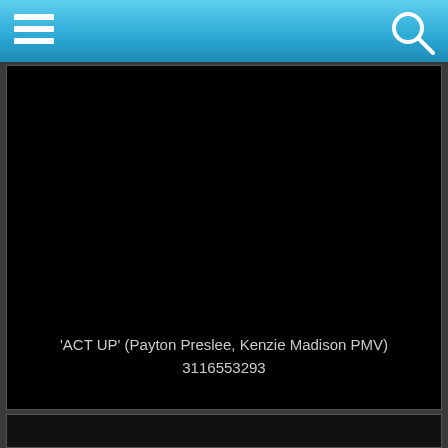Navigation bar with hamburger menu and search icon
[Figure (screenshot): Black video thumbnail with white/gray text overlay showing title 'ACT UP' (Payton Preslee, Kenzie Madison PMV) and view count 3116553293]
'ACT UP' (Payton Preslee, Kenzie Madison PMV)
3116553293
[Figure (screenshot): Partial black video thumbnail at bottom of screen]